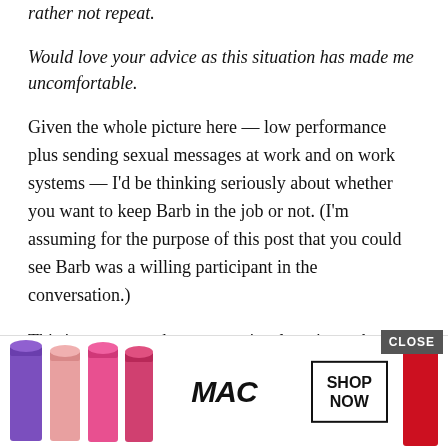rather not repeat.
Would love your advice as this situation has made me uncomfortable.
Given the whole picture here — low performance plus sending sexual messages at work and on work systems — I'd be thinking seriously about whether you want to keep Barb in the job or not. (I'm assuming for the purpose of this post that you could see Barb was a willing participant in the conversation.)
This is someone who was previously going to be fired because of attention to detail, was warned she'd need to increase her attention to detail when you hired her, is still showing those same issues and not working at the level you need, and hasn't been able to take on the full wo[rk of t]he role — and [sending sexual messages] at work u[sing work systems].
[Figure (advertisement): MAC Cosmetics advertisement showing lipsticks in purple, pink, and red colors with MAC logo and SHOP NOW button with CLOSE button overlay]